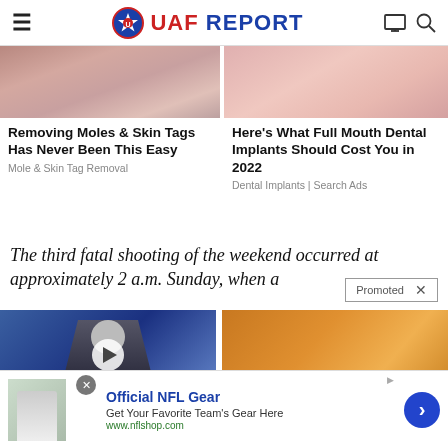UAF REPORT
[Figure (photo): Close-up image of a woman's lower face/lips area (left ad)]
Removing Moles & Skin Tags Has Never Been This Easy
Mole & Skin Tag Removal
[Figure (photo): Close-up image of lips/mouth area (right ad)]
Here's What Full Mouth Dental Implants Should Cost You in 2022
Dental Implants | Search Ads
The third fatal shooting of the weekend occurred at approximately 2 a.m. Sunday, when a
Promoted ×
[Figure (photo): Man speaking at podium with blue background, video play button overlaid]
[Figure (photo): Woman at gym with orange/spice background]
Official NFL Gear
Get Your Favorite Team's Gear Here
www.nflshop.com